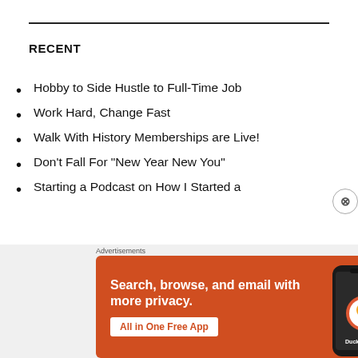RECENT
Hobby to Side Hustle to Full-Time Job
Work Hard, Change Fast
Walk With History Memberships are Live!
Don’t Fall For “New Year New You”
Starting a Podcast  on How I Started a
[Figure (screenshot): DuckDuckGo advertisement banner: orange background with text 'Search, browse, and email with more privacy. All in One Free App' and a phone image with DuckDuckGo logo.]